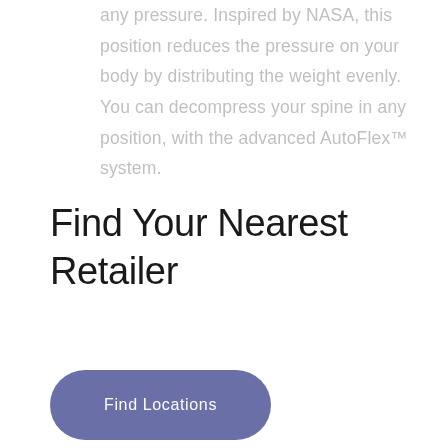any pressure. Inspired by NASA, this position reduces the pressure on your body by distributing the weight evenly. You can decompress your spine in any position, with the advanced AutoFlex™ system.
Find Your Nearest Retailer
Find Locations